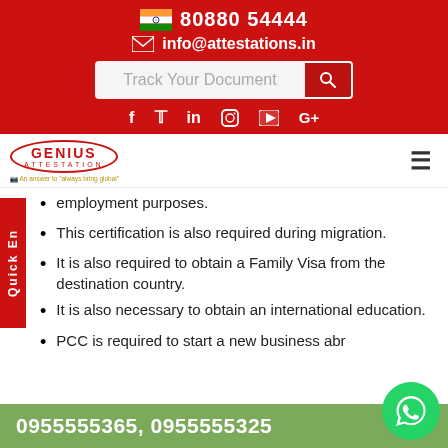80880 54444
info@attestations.in
Track Your Document
f  t  in  Instagram  YouTube  G+
[Figure (logo): Genius Attestation logo with oval border and tagline]
employment purposes.
This certification is also required during migration.
It is also required to obtain a Family Visa from the destination country.
It is also necessary to obtain an international education.
PCC is required to start a new business abr...
0955555365, 0955555325